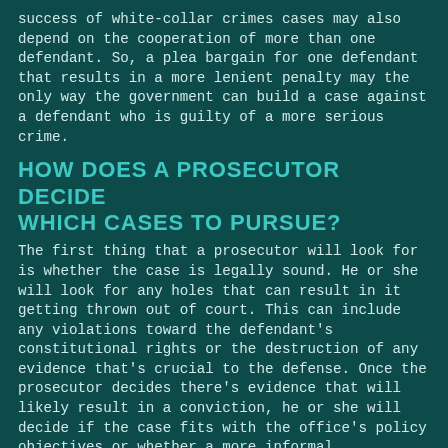success of white-collar crimes cases may also depend on the cooperation of more than one defendant. So, a plea bargain for one defendant that results in a more lenient penalty may the only way the government can build a case against a defendant who is guilty of a more serious crime.
HOW DOES A PROSECUTOR DECIDE WHICH CASES TO PURSUE?
The first thing that a prosecutor will look for is whether the case is legally sound. He or she will look for any holes that can result in it getting thrown out of court. This can include any violations toward the defendant's constitutional rights or the destruction of any evidence that's crucial to the defense. Once the prosecutor decides there's evidence that will likely result in a conviction, he or she will decide if the case fits with the office's policy objectives or whether a more informal disposition (such as a pre-trial diversion) is a better option.
WHAT IS RESTITUTION?
Restitution is an order for the defendant to pay the victim a sum of money that's meant to compensate the victim for the monetary costs related to the crime, and some people who